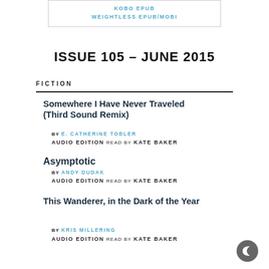KOBO EPUB
WEIGHTLESS EPUB/MOBI
ISSUE 105 – JUNE 2015
FICTION
Somewhere I Have Never Traveled (Third Sound Remix)
BY E. CATHERINE TOBLER
AUDIO EDITION READ BY KATE BAKER
Asymptotic
BY ANDY DUDAK
AUDIO EDITION READ BY KATE BAKER
This Wanderer, in the Dark of the Year
BY KRIS MILLERING
AUDIO EDITION READ BY KATE BAKER